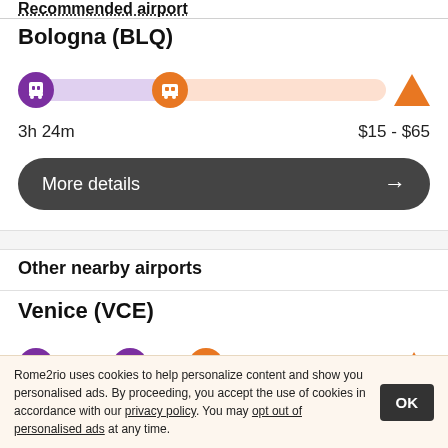Recommended airport
Bologna (BLQ)
[Figure (infographic): Route bar showing train icon (purple circle), bus icon (orange circle), and triangle warning icon with purple and orange segments]
3h 24m   $15 - $65
More details →
Other nearby airports
Venice (VCE)
[Figure (infographic): Route bar for Venice showing three icons: two train icons (purple circles), one bus icon (orange circle), and triangle warning with purple and orange segments]
Rome2rio uses cookies to help personalize content and show you personalised ads. By proceeding, you accept the use of cookies in accordance with our privacy policy. You may opt out of personalised ads at any time.